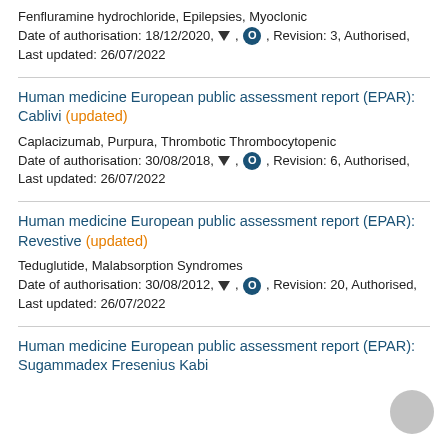Fenfluramine hydrochloride, Epilepsies, Myoclonic
Date of authorisation: 18/12/2020, ▼, O, Revision: 3, Authorised, Last updated: 26/07/2022
Human medicine European public assessment report (EPAR): Cablivi (updated)
Caplacizumab, Purpura, Thrombotic Thrombocytopenic
Date of authorisation: 30/08/2018, ▼, O, Revision: 6, Authorised, Last updated: 26/07/2022
Human medicine European public assessment report (EPAR): Revestive (updated)
Teduglutide, Malabsorption Syndromes
Date of authorisation: 30/08/2012, ▼, O, Revision: 20, Authorised, Last updated: 26/07/2022
Human medicine European public assessment report (EPAR): Sugammadex Fresenius Kabi